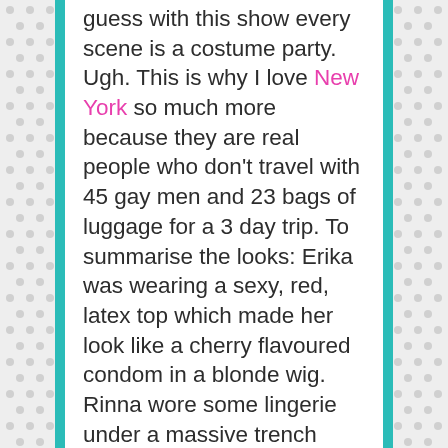guess with this show every scene is a costume party. Ugh. This is why I love New York so much more because they are real people who don't travel with 45 gay men and 23 bags of luggage for a 3 day trip. To summarise the looks: Erika was wearing a sexy, red, latex top which made her look like a cherry flavoured condom in a blonde wig. Rinna wore some lingerie under a massive trench coat and the others wore clothes that I'm sure were worth more than my house but I was honestly too bored to care, especially with all the Khloe & Tristan TEA!